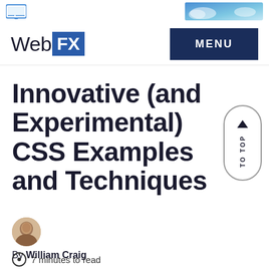WebFX MENU
Innovative (and Experimental) CSS Examples and Techniques
By William Craig
7 minutes to read